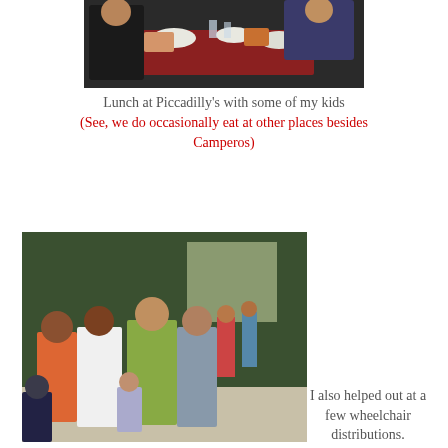[Figure (photo): People sitting at a table eating lunch at Piccadilly's restaurant, with food and drinks on a red tablecloth]
Lunch at Piccadilly's with some of my kids
(See, we do occasionally eat at other places besides Camperos)
[Figure (photo): Group of people posing for a photo indoors, in front of green walls, at a wheelchair distribution event]
I also helped out at a few wheelchair distributions.